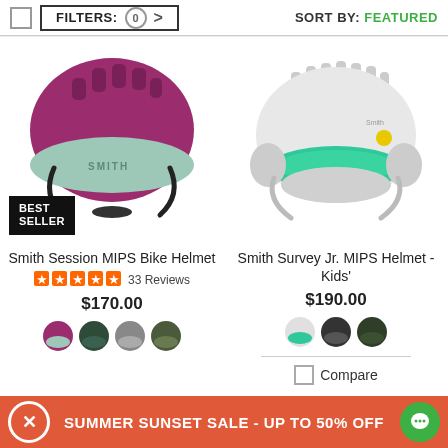FILTERS: 0 > | SORT BY: FEATURED
[Figure (photo): Smith Session MIPS Bike Helmet in berry/mint color with BEST SELLER badge]
Smith Session MIPS Bike Helmet
★★★★★ 33 Reviews
$170.00
[Figure (photo): Four color swatches for Smith Session helmet: berry, dark green, grey, olive]
[Figure (photo): Smith Survey Jr. MIPS Helmet - Kids' in white with green visor]
Smith Survey Jr. MIPS Helmet - Kids'
$190.00
[Figure (photo): Three color swatches for Smith Survey Jr. helmet: white/teal, black, dark green]
Compare
SUMMER SUNSET SALE - UP TO 50% OFF